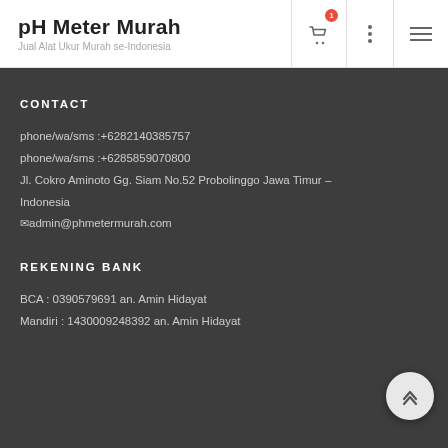pH Meter Murah – Jual Alat Ukur Murah se-Indonesia
CONTACT
phone/wa/sms :+6282140385757
phone/wa/sms :+6285859070800
Jl. Cokro Aminoto Gg. Siam No.52 Probolinggo Jawa Timur – Indonesia
admin@phmetermurah.com
REKENING BANK
BCA : 0390579691 an. Amin Hidayat
Mandiri : 1430009248392 an. Amin Hidayat